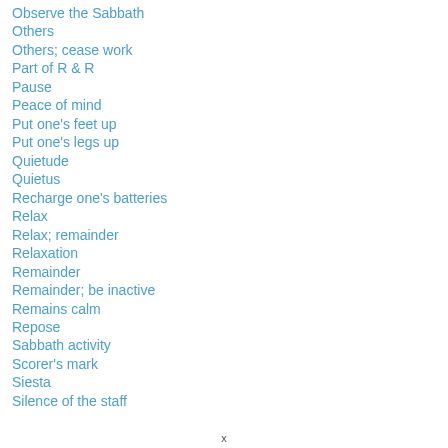Observe the Sabbath
Others
Others; cease work
Part of R & R
Pause
Peace of mind
Put one's feet up
Put one's legs up
Quietude
Quietus
Recharge one's batteries
Relax
Relax; remainder
Relaxation
Remainder
Remainder; be inactive
Remains calm
Repose
Sabbath activity
Scorer's mark
Siesta
Silence of the staff
x